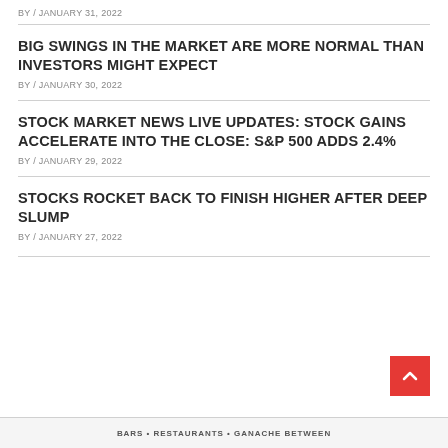BY / JANUARY 31, 2022
BIG SWINGS IN THE MARKET ARE MORE NORMAL THAN INVESTORS MIGHT EXPECT
BY / JANUARY 30, 2022
STOCK MARKET NEWS LIVE UPDATES: STOCK GAINS ACCELERATE INTO THE CLOSE: S&P 500 ADDS 2.4%
BY / JANUARY 29, 2022
STOCKS ROCKET BACK TO FINISH HIGHER AFTER DEEP SLUMP
BY / JANUARY 27, 2022
BARS • RESTAURANTS • GANACHE BETWEEN